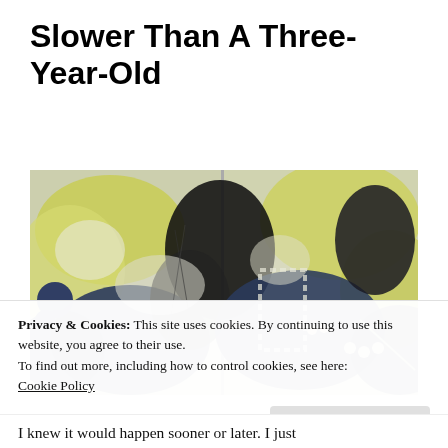Slower Than A Three-Year-Old
[Figure (illustration): Abstract painting with bold shapes in yellow-green, navy blue, black, and white — a diptych-style artwork with gestural brushwork and overlapping organic forms.]
Privacy & Cookies: This site uses cookies. By continuing to use this website, you agree to their use.
To find out more, including how to control cookies, see here:
Cookie Policy
Close and accept
I knew it would happen sooner or later. I just